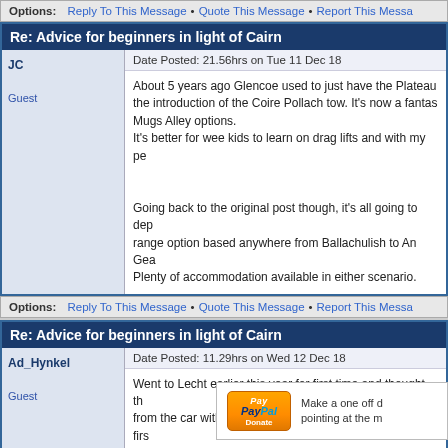Options: Reply To This Message • Quote This Message • Report This Message
JC
Re: Advice for beginners in light of Cairn
Date Posted: 21.56hrs on Tue 11 Dec 18
Guest
About 5 years ago Glencoe used to just have the Plateau and the introduction of the Coire Pollach tow. It's now a fantas- Mugs Alley options.
It's better for wee kids to learn on drag lifts and with my pe-

Going back to the original post though, it's all going to dep- range option based anywhere from Ballachulish to An Gea- Plenty of accommodation available in either scenario.
Options: Reply To This Message • Quote This Message • Report This Message
Ad_Hynkel
Re: Advice for beginners in light of Cairn
Date Posted: 11.29hrs on Wed 12 Dec 18
Guest
Went to Lecht earlier this year for first time and thought th- from the car without the need to get on a chair as your firs- that, and to echo the others above, the plateau at GC is w-
Options: Reply To This Message • Quote This Message • Report This Message
Current Page:1 of 2
[Figure (other): PayPal Donate button with text: Make a one off donation by pointing at the m]